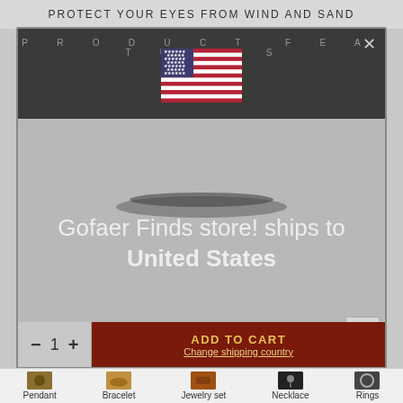PROTECT YOUR EYES FROM WIND AND SAND
[Figure (screenshot): E-commerce product page screenshot showing a modal overlay with US flag, shipping info to United States, Shop now button, Add to Cart bar, and navigation thumbnails at the bottom for Pendant, Bracelet, Jewelry set, Necklace, Rings categories.]
Gofaer Finds store! ships to United States
Shop in USD $
Get shipping options for United States
Shop now
ADD TO CART
Change shipping country
Pendant
Bracelet
Jewelry set
Necklace
Rings